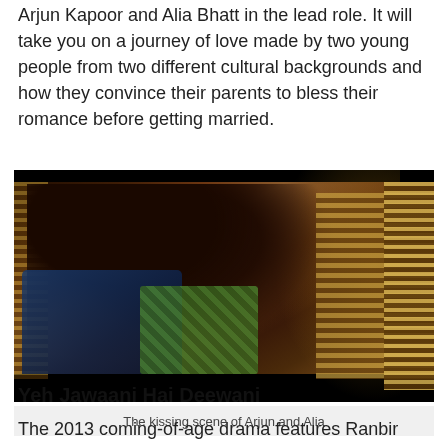Arjun Kapoor and Alia Bhatt in the lead role. It will take you on a journey of love made by two young people from two different cultural backgrounds and how they convince their parents to bless their romance before getting married.
[Figure (photo): A kissing scene between two actors (Arjun and Alia) in a warm, amber-lit room with window blinds visible in the background. One person wears a blue shirt, the other a green patterned wrap.]
The kissing scene of Arjun and Alia
Yeh Jawaani Hai Deewani
The 2013 coming-of-age drama features Ranbir